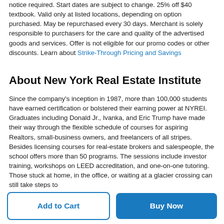notice required. Start dates are subject to change. 25% off $40 textbook. Valid only at listed locations, depending on option purchased. May be repurchased every 30 days. Merchant is solely responsible to purchasers for the care and quality of the advertised goods and services. Offer is not eligible for our promo codes or other discounts. Learn about Strike-Through Pricing and Savings
About New York Real Estate Institute
Since the company's inception in 1987, more than 100,000 students have earned certification or bolstered their earning power at NYREI. Graduates including Donald Jr., Ivanka, and Eric Trump have made their way through the flexible schedule of courses for aspiring Realtors, small-business owners, and freelancers of all stripes. Besides licensing courses for real-estate brokers and salespeople, the school offers more than 50 programs. The sessions include investor training, workshops on LEED accreditation, and one-on-one tutoring. Those stuck at home, in the office, or waiting at a glacier crossing can still take steps to